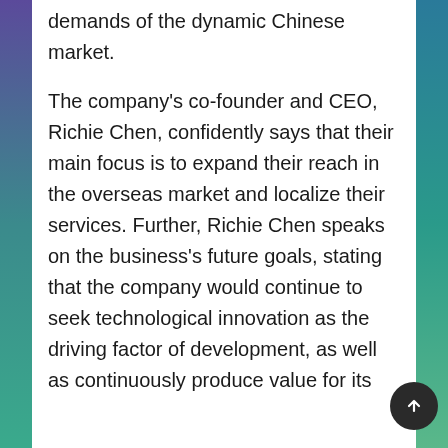of control while responding to the diverse demands of the dynamic Chinese market.
The company's co-founder and CEO, Richie Chen, confidently says that their main focus is to expand their reach in the overseas market and localize their services. Further, Richie Chen speaks on the business's future goals, stating that the company would continue to seek technological innovation as the driving factor of development, as well as continuously produce value for its